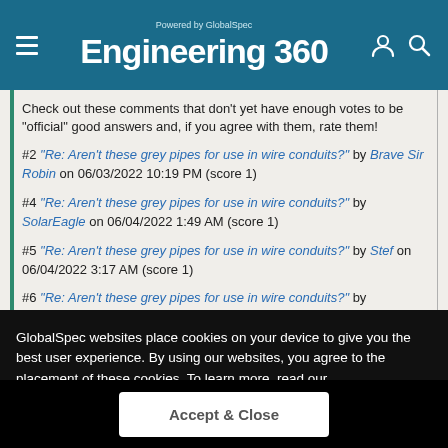Engineering 360 — Powered by GlobalSpec
Check out these comments that don't yet have enough votes to be "official" good answers and, if you agree with them, rate them!
#2 "Re: Aren't these grey pipes for use in wire conduits?" by Brave Sir Robin on 06/03/2022 10:19 PM (score 1)
#4 "Re: Aren't these grey pipes for use in wire conduits?" by SolarEagle on 06/04/2022 1:49 AM (score 1)
#5 "Re: Aren't these grey pipes for use in wire conduits?" by Stef on 06/04/2022 3:17 AM (score 1)
#6 "Re: Aren't these grey pipes for use in wire conduits?" by HiTekRedNek on 06/04/2022 4:36 AM (score 1)
#8 "Re: Aren't these grey pipes for use in wire conduits?" by SolarEagle on 06/05/2022 1:04 PM (score 1)
GlobalSpec websites place cookies on your device to give you the best user experience. By using our websites, you agree to the placement of these cookies. To learn more, read our Privacy Policy
Accept & Close